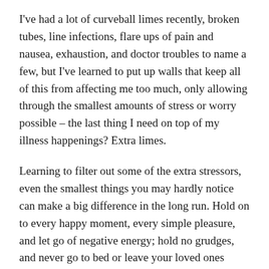I've had a lot of curveball limes recently, broken tubes, line infections, flare ups of pain and nausea, exhaustion, and doctor troubles to name a few, but I've learned to put up walls that keep all of this from affecting me too much, only allowing through the smallest amounts of stress or worry possible – the last thing I need on top of my illness happenings? Extra limes.
Learning to filter out some of the extra stressors, even the smallest things you may hardly notice can make a big difference in the long run. Hold on to every happy moment, every simple pleasure, and let go of negative energy; hold no grudges, and never go to bed or leave your loved ones angry. Forgive, love, laugh, and remember not to waste precious time on trivial issues. When life gives you limes, take a moment to find your own sweet moments and